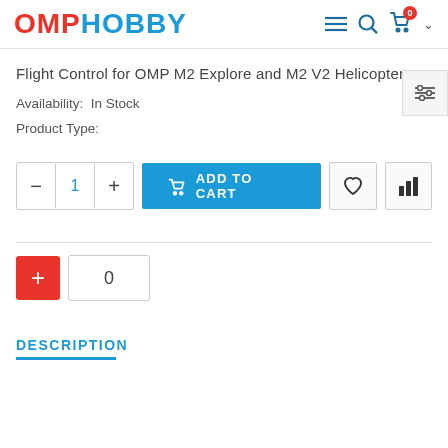OMPHOBBY
Flight Control for OMP M2 Explore and M2 V2 Helicopters
Availability:  In Stock
Product Type:
[Figure (screenshot): Add to cart row with quantity selector (minus, 1, plus), blue ADD TO CART button with bag icon, heart wishlist icon button, and bar chart compare icon button]
[Figure (screenshot): Compare section with red plus button and count box showing 0]
DESCRIPTION